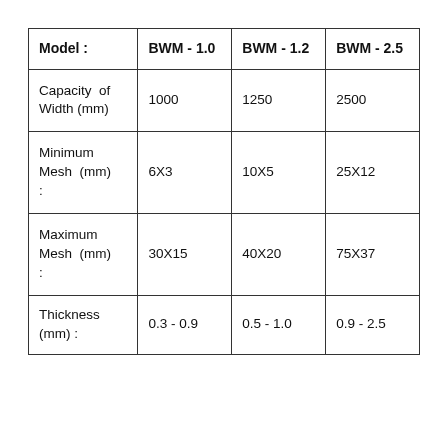| Model : | BWM - 1.0 | BWM - 1.2 | BWM - 2.5 |
| --- | --- | --- | --- |
| Capacity  of  Width (mm) | 1000 | 1250 | 2500 |
| Minimum Mesh (mm) : | 6X3 | 10X5 | 25X12 |
| Maximum Mesh (mm) : | 30X15 | 40X20 | 75X37 |
| Thickness (mm) : | 0.3 - 0.9 | 0.5 - 1.0 | 0.9 - 2.5 |